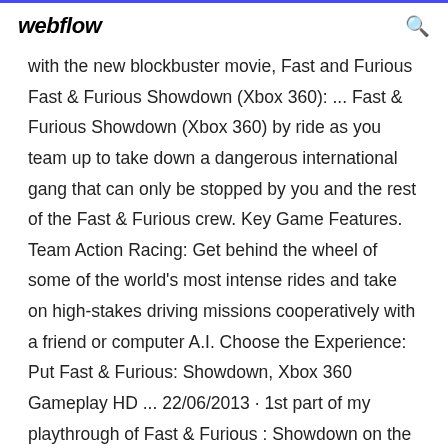webflow
with the new blockbuster movie, Fast and Furious Fast & Furious Showdown (Xbox 360): ... Fast & Furious Showdown (Xbox 360) by ride as you team up to take down a dangerous international gang that can only be stopped by you and the rest of the Fast & Furious crew. Key Game Features. Team Action Racing: Get behind the wheel of some of the world's most intense rides and take on high-stakes driving missions cooperatively with a friend or computer A.I. Choose the Experience: Put Fast & Furious: Showdown, Xbox 360 Gameplay HD ... 22/06/2013 · 1st part of my playthrough of Fast & Furious : Showdown on the Xbox 360. It's rubbish.